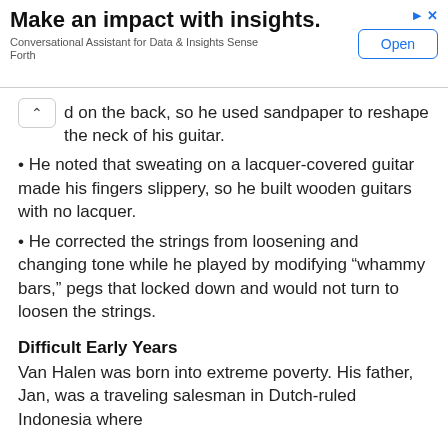[Figure (other): Advertisement banner: 'Make an impact with insights.' with subtitle 'Conversational Assistant for Data & Insights Sense Forth' and an 'Open' button]
d on the back, so he used sandpaper to reshape the neck of his guitar.
• He noted that sweating on a lacquer-covered guitar made his fingers slippery, so he built wooden guitars with no lacquer.
• He corrected the strings from loosening and changing tone while he played by modifying “whammy bars,” pegs that locked down and would not turn to loosen the strings.
Difficult Early Years
Van Halen was born into extreme poverty. His father, Jan, was a traveling salesman in Dutch-ruled Indonesia where